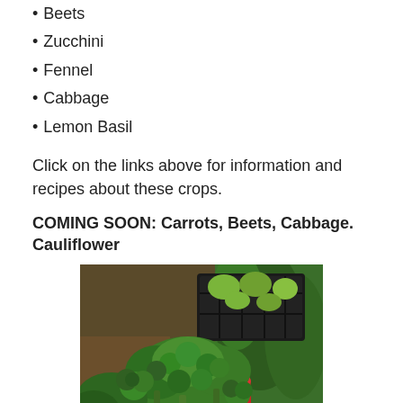• Beets
• Zucchini
• Fennel
• Cabbage
• Lemon Basil
Click on the links above for information and recipes about these crops.
COMING SOON: Carrots, Beets, Cabbage. Cauliflower
[Figure (photo): Photo of broccoli heads in a red bucket in a garden, with a black crate of green vegetables in the background surrounded by tall green plants.]